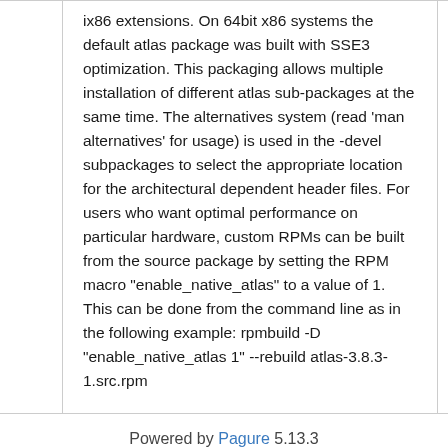ix86 extensions. On 64bit x86 systems the default atlas package was built with SSE3 optimization. This packaging allows multiple installation of different atlas sub-packages at the same time. The alternatives system (read 'man alternatives' for usage) is used in the -devel subpackages to select the appropriate location for the architectural dependent header files. For users who want optimal performance on particular hardware, custom RPMs can be built from the source package by setting the RPM macro "enable_native_atlas" to a value of 1. This can be done from the command line as in the following example: rpmbuild -D "enable_native_atlas 1" --rebuild atlas-3.8.3-1.src.rpm
Powered by Pagure 5.13.3 | SSH Hostkey/Fingerprint | Documentation